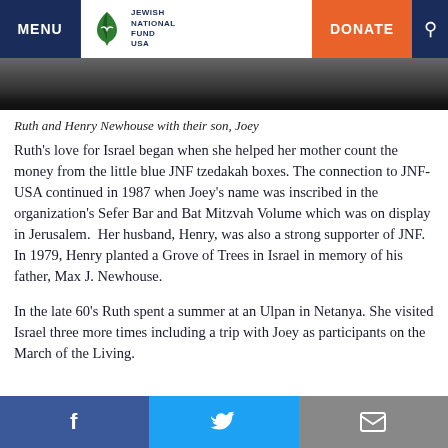MENU | JEWISH NATIONAL FUND USA | DONATE
[Figure (photo): Partial photo showing dark background, bottom portion of a photo of Ruth and Henry Newhouse with their son Joey]
Ruth and Henry Newhouse with their son, Joey
Ruth’s love for Israel began when she helped her mother count the money from the little blue JNF tzedakah boxes. The connection to JNF-USA continued in 1987 when Joey’s name was inscribed in the organization’s Sefer Bar and Bat Mitzvah Volume which was on display in Jerusalem.  Her husband, Henry, was also a strong supporter of JNF.  In 1979, Henry planted a Grove of Trees in Israel in memory of his father, Max J. Newhouse.
In the late 60’s Ruth spent a summer at an Ulpan in Netanya. She visited Israel three more times including a trip with Joey as participants on the March of the Living.
Ruth advocated during the Yom Kippur war that all Jews of America should aid Israel in any way possible, including
Facebook | Twitter | Email